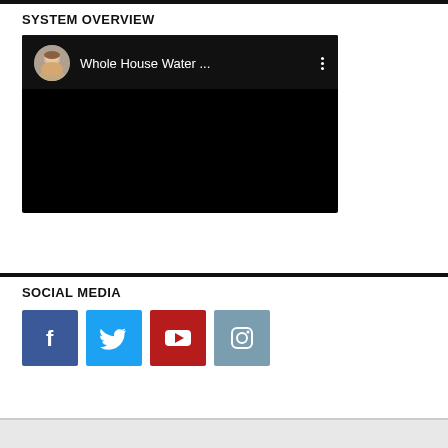SYSTEM OVERVIEW
[Figure (screenshot): YouTube video thumbnail showing a man's avatar and the title 'Whole House Water ...' on a dark background with a three-dot menu icon]
SOCIAL MEDIA
[Figure (illustration): Four social media icon buttons: Facebook (blue), Twitter (light blue), YouTube (red), Instagram (grey-blue)]